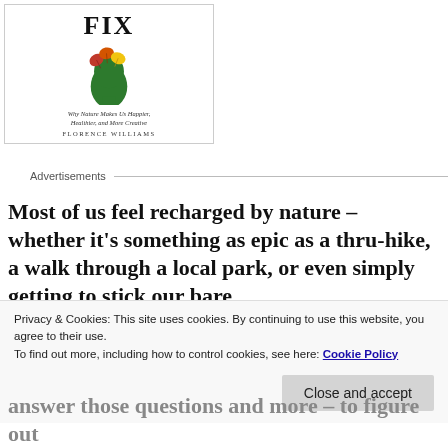[Figure (illustration): Book cover of 'The Nature Fix' by Florence Williams, showing a green silhouette of a human head profile filled with autumn leaves (red, orange, yellow) on a white background. Subtitle reads 'Why Nature Makes Us Happier, Healthier, and More Creative'. Partially cropped showing only 'FIX' of title.]
Advertisements
Most of us feel recharged by nature – whether it's something as epic as a thru-hike, a walk through a local park, or even simply getting to stick our bare
Privacy & Cookies: This site uses cookies. By continuing to use this website, you agree to their use.
To find out more, including how to control cookies, see here: Cookie Policy
Close and accept
answer those questions and more – to figure out